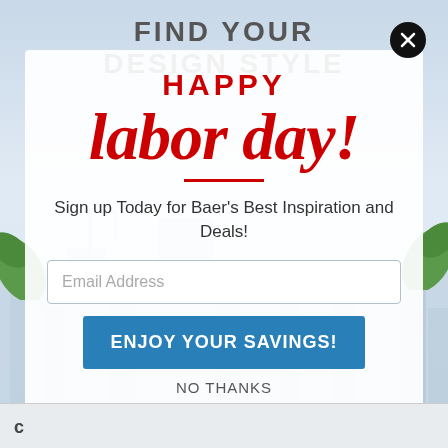[Figure (screenshot): Background page with text 'FIND YOUR DESIGN STYLE' and a light blue sky/city background]
HAPPY
labor day!
Sign up Today for Baer's Best Inspiration and Deals!
Email Address
ENJOY YOUR SAVINGS!
NO THANKS